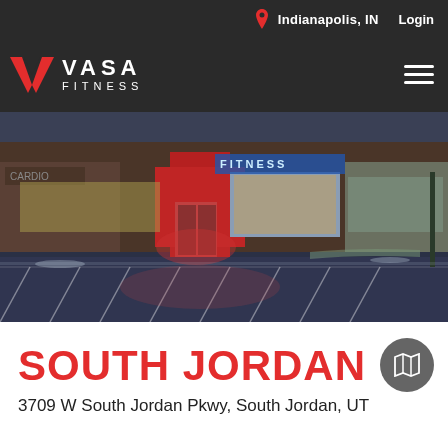Indianapolis, IN  Login
[Figure (logo): VASA Fitness logo with red V chevron and white text VASA FITNESS on dark background, with hamburger menu icon on right]
[Figure (photo): Exterior night/dusk photo of a VASA Fitness gym storefront in a strip mall, illuminated with red lighting, parking lot in foreground with parking lines visible]
SOUTH JORDAN
3709 W South Jordan Pkwy, South Jordan, UT 84095